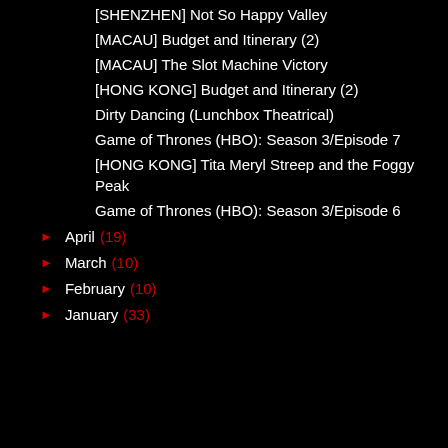[SHENZHEN] Not So Happy Valley
[MACAU] Budget and Itinerary (2)
[MACAU] The Slot Machine Victory
[HONG KONG] Budget and Itinerary (2)
Dirty Dancing (Lunchbox Theatrical)
Game of Thrones (HBO): Season 3/Episode 7
[HONG KONG] Tita Meryl Streep and the Foggy Peak
Game of Thrones (HBO): Season 3/Episode 6
April (19)
March (10)
February (10)
January (33)